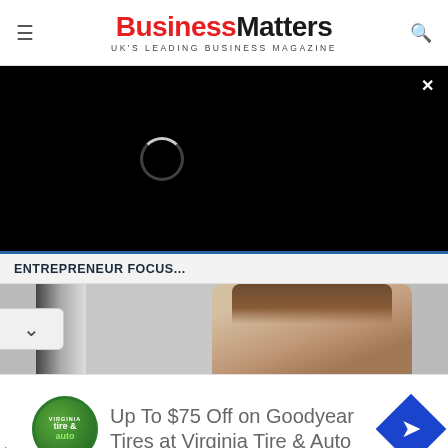Business Matters — UK'S LEADING BUSINESS MAGAZINE
[Figure (screenshot): Black video player overlay with loading spinner and close button (×)]
ENTREPRENEUR FOCUS...
[Figure (photo): Partial photo of a person — cropped showing only top of head with brown hair, against a light interior background]
Up To $75 Off on Goodyear Tires at Virginia Tire & Auto